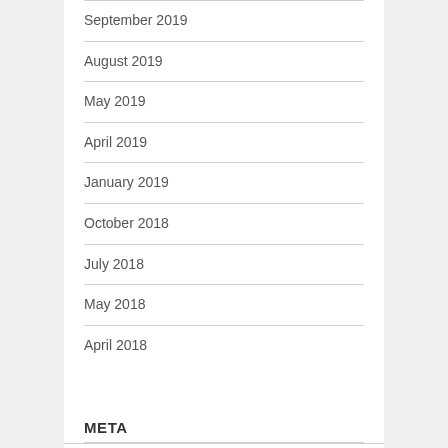September 2019
August 2019
May 2019
April 2019
January 2019
October 2018
July 2018
May 2018
April 2018
META
Log in